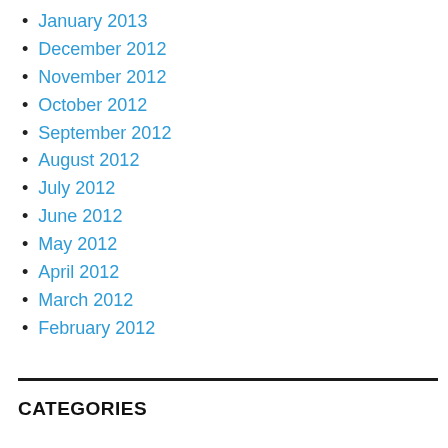January 2013
December 2012
November 2012
October 2012
September 2012
August 2012
July 2012
June 2012
May 2012
April 2012
March 2012
February 2012
CATEGORIES